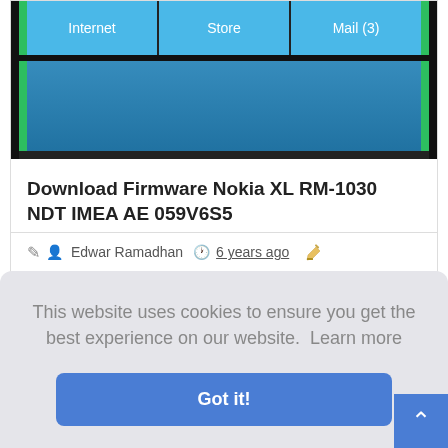[Figure (screenshot): Nokia XL phone screen showing tiles: Internet, Store, Mail (3) in blue and green colors]
Download Firmware Nokia XL RM-1030 NDT IMEA AE 059V6S5
Edwar Ramadhan  6 years ago
This website uses cookies to ensure you get the best experience on our website.  Learn more
Got it!